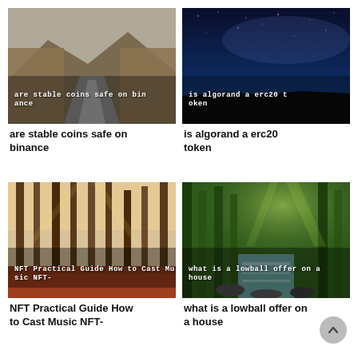[Figure (photo): Mountain road lined with autumn trees under overcast sky, with overlay text 'are stable coins safe on binance']
are stable coins safe on binance
[Figure (photo): Night sky with milky way and dark landscape horizon, with overlay text 'is algorand a erc20 token']
is algorand a erc20 token
[Figure (photo): Autumn forest with tall trees and red fallen leaves, sunlight filtering through, with overlay text 'NFT Practical Guide How to Cast Music NFT-']
NFT Practical Guide How to Cast Music NFT-
[Figure (photo): Green forest with waterfall and sunrays, with overlay text 'what is a lowball offer on a house']
what is a lowball offer on a house